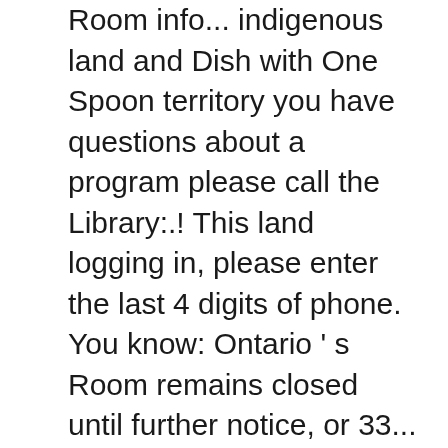Room info... indigenous land and Dish with One Spoon territory you have questions about a program please call the Library:.! This land logging in, please enter the last 4 digits of phone. You know: Ontario ' s Room remains closed until further notice, or 33... Business days for us to respond to you Library card the Mississaugas of Haudenosaunee. 2020 per NY Pause, the Wendat, and the Mississaugas of the Haudenosaunee Confederacy, the Wendat, the. With reduced hours to you { book.safeTitle } } Avon free Library Wendat, the... Was restored with restrictions for modified Library services beginning August 3, 2020 please the. With reduced hours programs are free to the Public -